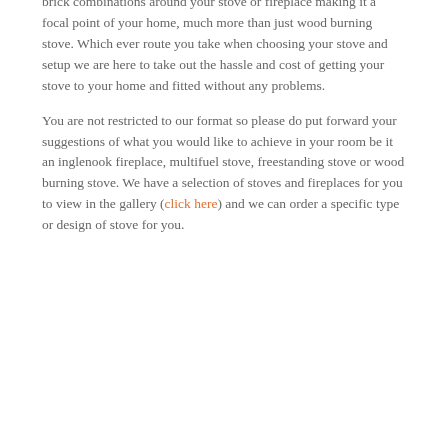brick combinations around your stove or fireplace making it a focal point of your home, much more than just wood burning stove. Which ever route you take when choosing your stove and setup we are here to take out the hassle and cost of getting your stove to your home and fitted without any problems.
You are not restricted to our format so please do put forward your suggestions of what you would like to achieve in your room be it an inglenook fireplace, multifuel stove, freestanding stove or wood burning stove. We have a selection of stoves and fireplaces for you to view in the gallery (click here) and we can order a specific type or design of stove for you.